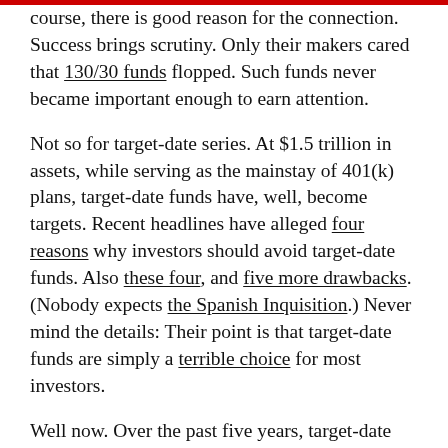course, there is good reason for the connection. Success brings scrutiny. Only their makers cared that 130/30 funds flopped. Such funds never became important enough to earn attention.
Not so for target-date series. At $1.5 trillion in assets, while serving as the mainstay of 401(k) plans, target-date funds have, well, become targets. Recent headlines have alleged four reasons why investors should avoid target-date funds. Also these four, and five more drawbacks. (Nobody expects the Spanish Inquisition.) Never mind the details: Their point is that target-date funds are simply a terrible choice for most investors.
Well now. Over the past five years, target-date 2030 funds — to name one example — have outgained both the average balanced fund (cumbersomely if accurately